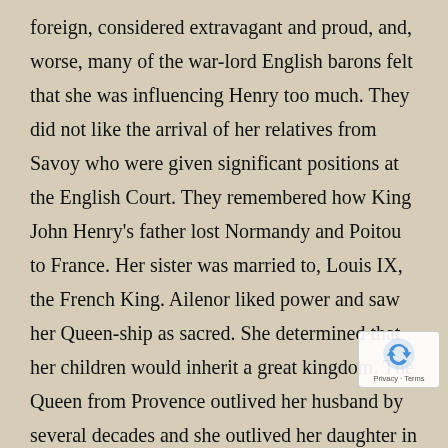foreign, considered extravagant and proud, and, worse, many of the war-lord English barons felt that she was influencing Henry too much. They did not like the arrival of her relatives from Savoy who were given significant positions at the English Court. They remembered how King John Henry's father lost Normandy and Poitou to France. Her sister was married to, Louis IX, the French King. Ailenor liked power and saw her Queen-ship as sacred. She determined that her children would inherit a great kingdom. The Queen from Provence outlived her husband by several decades and she outlived her daughter in law, Eleanor of Castile by some years. They are both fascinating subjects as protagonists the thirteenth century itself, a period of great change,